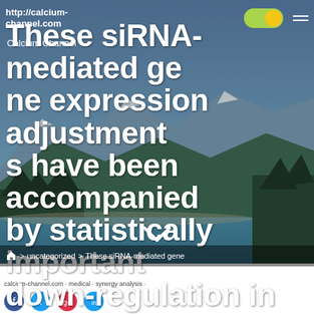http://calcium-channel.com
Calcium Channel
These siRNA-mediated gene expression adjustments have been accompanied by statistically important down-regulation in cell proliferation (Figure 3A and 3C)
> uncategorized > These siRNA-mediated gene...